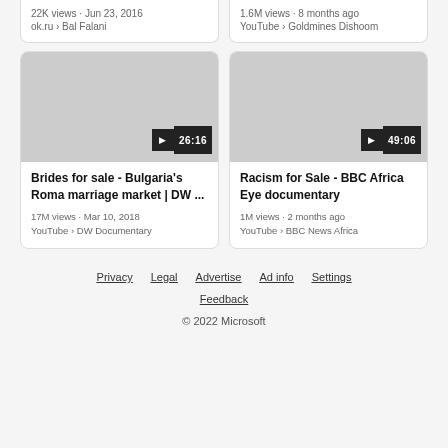22K views · Jun 23, 2016
ok.ru › Bal Falani
1.6M views · 8 months ago
YouTube › Goldmines Dishoom
[Figure (screenshot): Video thumbnail placeholder (gray) with duration badge 26:16]
Brides for sale - Bulgaria's Roma marriage market | DW ...
17M views · Mar 10, 2018
YouTube › DW Documentary
[Figure (screenshot): Video thumbnail placeholder (gray) with duration badge 49:06]
Racism for Sale - BBC Africa Eye documentary
1M views · 2 months ago
YouTube › BBC News Africa
Privacy   Legal   Advertise   Ad info   Settings
Feedback
© 2022 Microsoft